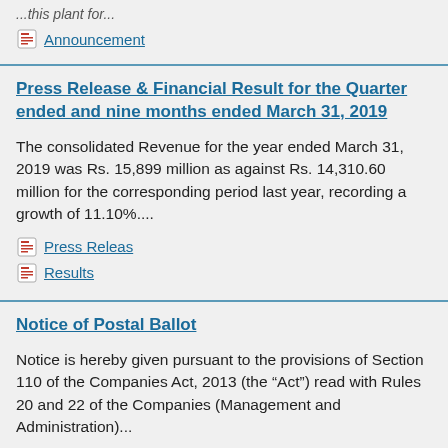...this plant for...
Announcement
Press Release & Financial Result for the Quarter ended and nine months ended March 31, 2019
The consolidated Revenue for the year ended March 31, 2019 was Rs. 15,899 million as against Rs. 14,310.60 million for the corresponding period last year, recording a growth of 11.10%....
Press Releas
Results
Notice of Postal Ballot
Notice is hereby given pursuant to the provisions of Section 110 of the Companies Act, 2013 (the “Act”) read with Rules 20 and 22 of the Companies (Management and Administration)...
Notice of Postal Ballot